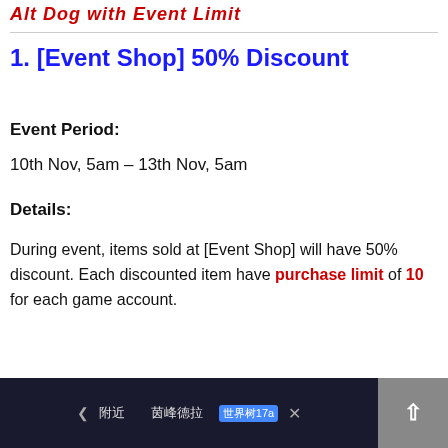Alt Dog with Event Limit
1. [Event Shop] 50% Discount
Event Period:
10th Nov, 5am – 13th Nov, 5am
Details:
During event, items sold at [Event Shop] will have 50% discount. Each discounted item have purchase limit of 10 for each game account.
[Figure (screenshot): Game UI advertisement banner showing navigation controls and Chinese text with a blue badge label and close button]